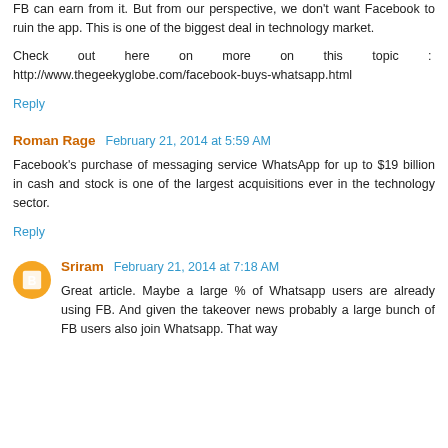FB can earn from it. But from our perspective, we don't want Facebook to ruin the app. This is one of the biggest deal in technology market.
Check out here on more on this topic : http://www.thegeekyglobe.com/facebook-buys-whatsapp.html
Reply
Roman Rage  February 21, 2014 at 5:59 AM
Facebook's purchase of messaging service WhatsApp for up to $19 billion in cash and stock is one of the largest acquisitions ever in the technology sector.
Reply
Sriram  February 21, 2014 at 7:18 AM
Great article. Maybe a large % of Whatsapp users are already using FB. And given the takeover news probably a large bunch of FB users also join Whatsapp. That way